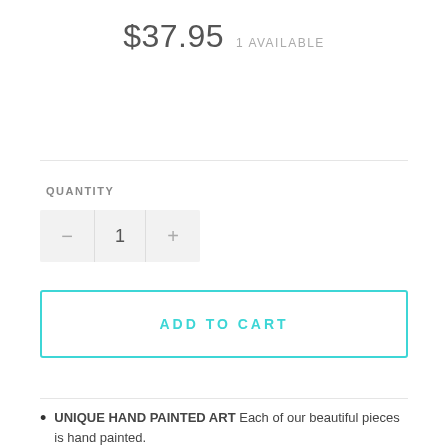$37.95   1 AVAILABLE
QUANTITY
− 1 +
ADD TO CART
UNIQUE HAND PAINTED ART Each of our beautiful pieces is hand painted.